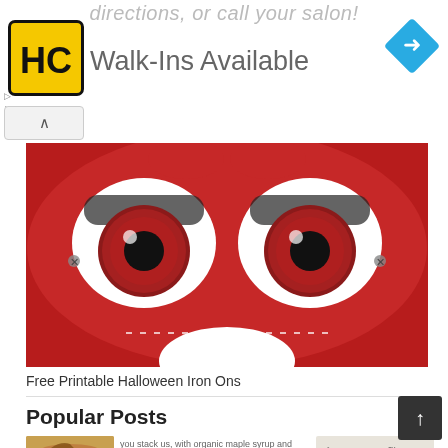directions, or call your salon!
[Figure (logo): HC logo — yellow square with black border and HC text]
Walk-Ins Available
[Figure (illustration): Red Halloween mask with large cartoon eyes (PJ Masks Owlette style), white eye areas with dark red irises and black pupils, stitched bottom edge]
Free Printable Halloween Iron Ons
Popular Posts
[Figure (photo): Thumbnail of pancakes with syrup and butter]
you stack us, with organic maple syrup and butter
[Figure (photo): Crazy Shakes thumbnail with text OUR MILK SHAKES ARE HAND]